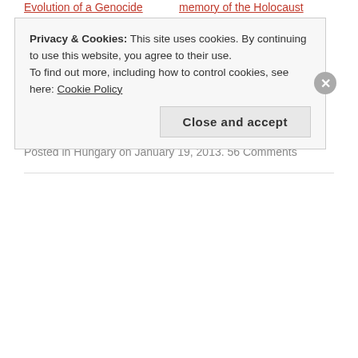Evolution of a Genocide — March 9, 2014 — In "Hungary"
memory of the Holocaust — March 22, 2014 — In "Hungary"
Krisztián Ungváry on the memorial to the German occupation of Hungary: “The Living Horror” — January 24, 2014 — In "Hungarian politics"
Posted in Hungary on January 19, 2013. 56 Comments
Privacy & Cookies: This site uses cookies. By continuing to use this website, you agree to their use. To find out more, including how to control cookies, see here: Cookie Policy
Close and accept